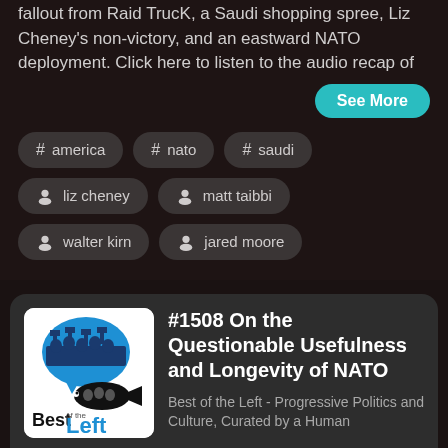fallout from Raid TrucK, a Saudi shopping spree, Liz Cheney's non-victory, and an eastward NATO deployment. Click here to listen to the audio recap of
See More
# america
# nato
# saudi
liz cheney
matt taibbi
walter kirn
jared moore
[Figure (logo): Best of the Left podcast logo: blue speech bubble with crowd silhouette, black fish with crowd silhouette, text 'Best of the Left']
#1508 On the Questionable Usefulness and Longevity of NATO
Best of the Left - Progressive Politics and Culture, Curated by a Human
Play Episode